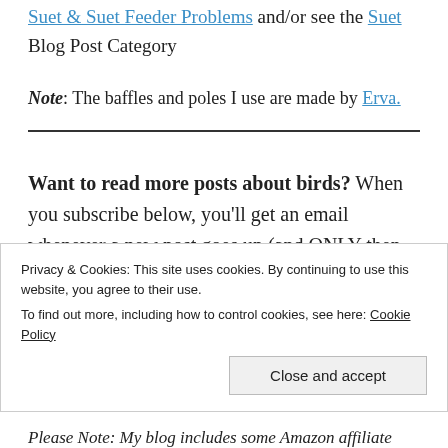Suet & Suet Feeder Problems and/or see the Suet Blog Post Category
Note: The baffles and poles I use are made by Erva.
Want to read more posts about birds? When you subscribe below, you'll get an email whenever a new post goes up (and ONLY then. Promise!)
Privacy & Cookies: This site uses cookies. By continuing to use this website, you agree to their use.
To find out more, including how to control cookies, see here: Cookie Policy
Close and accept
Please Note: My blog includes some Amazon affiliate